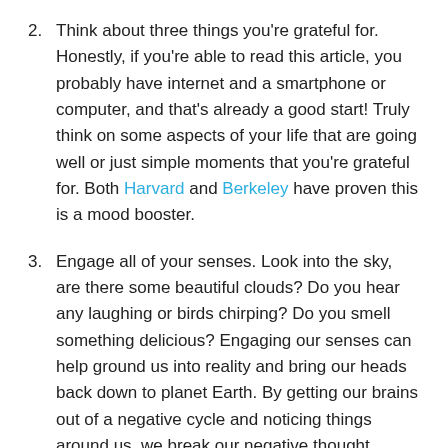2. Think about three things you're grateful for. Honestly, if you're able to read this article, you probably have internet and a smartphone or computer, and that's already a good start! Truly think on some aspects of your life that are going well or just simple moments that you're grateful for. Both Harvard and Berkeley have proven this is a mood booster.
3. Engage all of your senses. Look into the sky, are there some beautiful clouds? Do you hear any laughing or birds chirping? Do you smell something delicious? Engaging our senses can help ground us into reality and bring our heads back down to planet Earth. By getting our brains out of a negative cycle and noticing things around us, we break our negative thought pattern and engage in gratefulness. This boosts our mood greatly (see above!).
4. (partial, cut off at bottom)